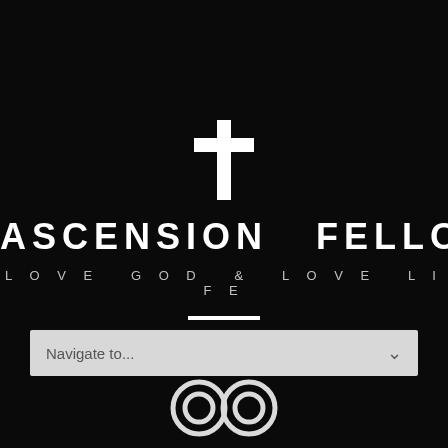[Figure (logo): A white Christian cross symbol centered on a black background]
ASCENSION FELLOWSHIP
LOVE GOD & LOVE LIFE
Navigate to...